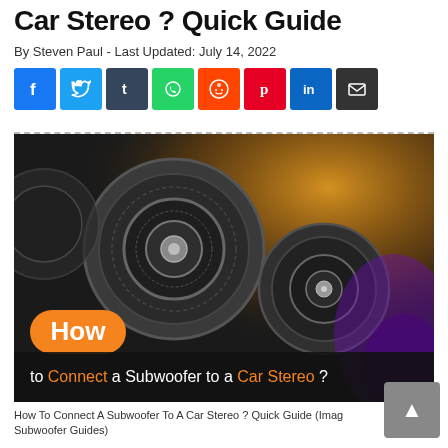Car Stereo ? Quick Guide
By Steven Paul - Last Updated: July 14, 2022
[Figure (infographic): Social sharing icons row: Facebook, Twitter, Tumblr, WhatsApp, Reddit, Pinterest, LinkedIn, Email]
[Figure (photo): Photo of car speakers/subwoofers with overlay text: 'How to Connect a Subwoofer to a Car Stereo ?'. Orange rounded rectangle behind 'How', black bar with white and orange text below.]
How To Connect A Subwoofer To A Car Stereo ? Quick Guide (Image: Subwoofer Guides)